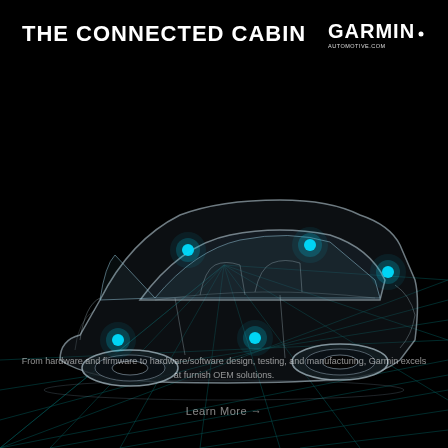THE CONNECTED CABIN
[Figure (illustration): Transparent wireframe/x-ray view of a car on a dark grid floor with cyan glowing dots at key connection points inside the vehicle cabin, representing connected cabin technology. The car is rendered in translucent white/grey lines against a black background with a cyan grid pattern on the floor.]
From hardware and firmware to hardware/software design, testing, and manufacturing, Garmin excels at furnish OEM solutions.
Learn More →
[Figure (logo): GARMIN logo in white text with 'AUTOMOTIVE.COM' tagline below in small white text, positioned top-right corner]